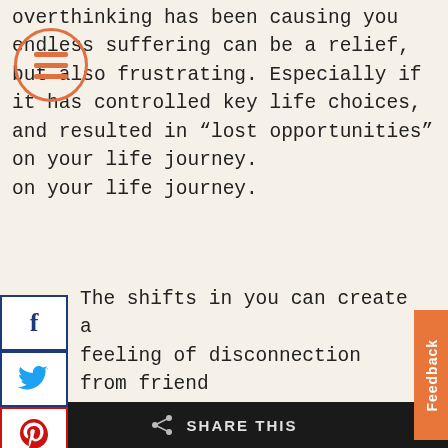overthinking has been causing you endless suffering can be a relief, but also frustrating. Especially if it has controlled key life choices, and resulted in “lost opportunities” on your life journey.
[Figure (infographic): Hamburger menu icon (three horizontal lines) inside an orange circle, overlaid on text]
[Figure (infographic): Social sharing sidebar with Facebook, Twitter, Pinterest, and LinkedIn icons in bordered boxes]
The shifts in you can create a feeling of disconnection from friends and family who don’t know what plane you are on which can lead to inner and outer conflict. Realizing that unconscious patterns have been repeated in your family, likely generationally, can all be painful and difficult to process.
[Figure (infographic): Feedback tab on right side, orange background, vertical text reading Feedback]
SHARE THIS